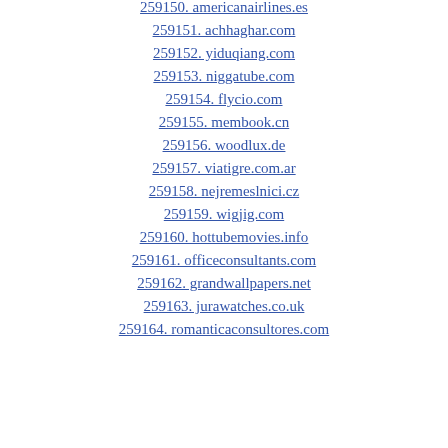259150. americanairlines.es
259151. achhaghar.com
259152. yiduqiang.com
259153. niggatube.com
259154. flycio.com
259155. membook.cn
259156. woodlux.de
259157. viatigre.com.ar
259158. nejremeslnici.cz
259159. wigjig.com
259160. hottubemovies.info
259161. officeconsultants.com
259162. grandwallpapers.net
259163. jurawatches.co.uk
259164. romanticaconsultores.com